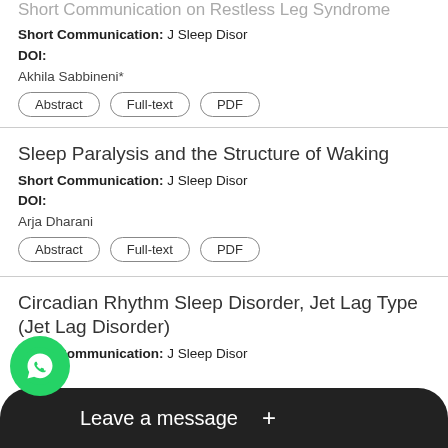Short Communication on Restless Leg Syndrome (clipped at top)
Short Communication: J Sleep Disor
DOI:
Akhila Sabbineni*
[Abstract] [Full-text] [PDF]
Sleep Paralysis and the Structure of Waking
Short Communication: J Sleep Disor
DOI:
Arja Dharani
[Abstract] [Full-text] [PDF]
Circadian Rhythm Sleep Disorder, Jet Lag Type (Jet Lag Disorder)
Short Communication: J Sleep Disor
DOI:
Aria Dharani*
[Abstract] [Full-text] [PDF]
Phy... (clipped at bottom)
[Figure (screenshot): WhatsApp 'Leave a message' overlay with green phone icon and dark bar at the bottom of the page]